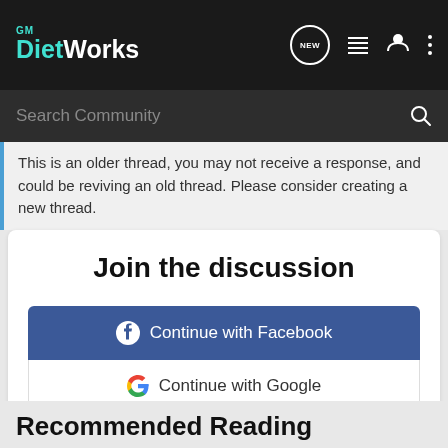GM DietWorks
This is an older thread, you may not receive a response, and could be reviving an old thread. Please consider creating a new thread.
Join the discussion
Continue with Facebook
Continue with Google
or sign up with email
Recommended Reading